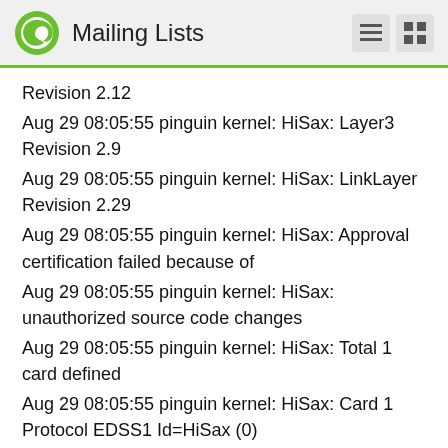Mailing Lists
Revision 2.12
Aug 29 08:05:55 pinguin kernel: HiSax: Layer3 Revision 2.9
Aug 29 08:05:55 pinguin kernel: HiSax: LinkLayer Revision 2.29
Aug 29 08:05:55 pinguin kernel: HiSax: Approval certification failed because of
Aug 29 08:05:55 pinguin kernel: HiSax: unauthorized source code changes
Aug 29 08:05:55 pinguin kernel: HiSax: Total 1 card defined
Aug 29 08:05:55 pinguin kernel: HiSax: Card 1 Protocol EDSS1 Id=HiSax (0)
Aug 29 08:05:55 pinguin kernel: HiSax: AVM PCI driver Rev. 1.9